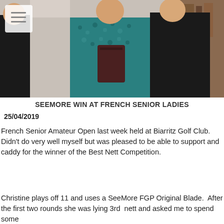[Figure (photo): Photo of three women at French Senior Ladies golf event, one holding a dark bag/trophy, at Biarritz Golf Club]
SEEMORE WIN AT FRENCH SENIOR LADIES
25/04/2019
French Senior Amateur Open last week held at Biarritz Golf Club.  Didn't do very well myself but was pleased to be able to support and caddy for the winner of the Best Nett Competition.
Christine plays off 11 and uses a SeeMore FGP Original Blade.  After the first two rounds she was lying 3rd nett and asked me to spend some
READ MORE
[Figure (logo): SeeMore Putters circular logo — black circle with white text 'SeeMore Putters' and a putter head graphic in white and red]